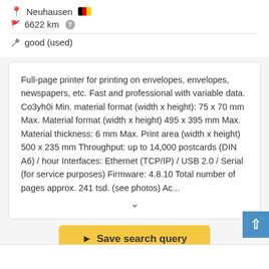Neuhausen 🇩🇪
6622 km ?
good (used)
Full-page printer for printing on envelopes, envelopes, newspapers, etc. Fast and professional with variable data. Co3yh0i Min. material format (width x height): 75 x 70 mm Max. Material format (width x height) 495 x 395 mm Max. Material thickness: 6 mm Max. Print area (width x height) 500 x 235 mm Throughput: up to 14,000 postcards (DIN A6) / hour Interfaces: Ethernet (TCP/IP) / USB 2.0 / Serial (for service purposes) Firmware: 4.8.10 Total number of pages approx. 241 tsd. (see photos) Ac...
Save search query